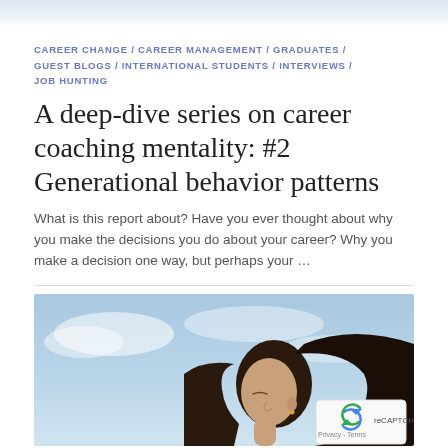CAREER CHANGE / CAREER MANAGEMENT / GRADUATES / GUEST BLOGS / INTERNATIONAL STUDENTS / INTERVIEWS / JOB HUNTING
A deep-dive series on career coaching mentality: #2 Generational behavior patterns
What is this report about? Have you ever thought about why you make the decisions you do about your career? Why you make a decision one way, but perhaps your …
[Figure (photo): Woman with dark hair, eyes closed, looking upward against a blue sky background]